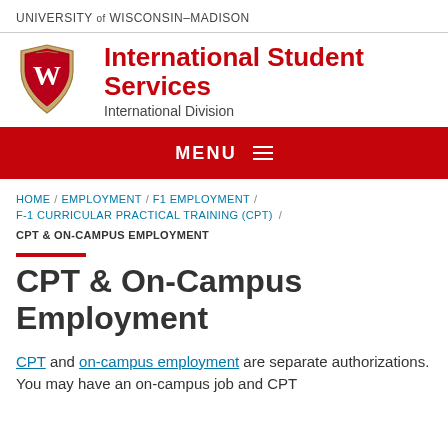UNIVERSITY of WISCONSIN–MADISON
[Figure (logo): University of Wisconsin-Madison shield logo with W crest, red background, beside International Student Services wordmark]
International Student Services
International Division
MENU
HOME / EMPLOYMENT / F1 EMPLOYMENT / F-1 CURRICULAR PRACTICAL TRAINING (CPT) / CPT & ON-CAMPUS EMPLOYMENT
CPT & On-Campus Employment
CPT and on-campus employment are separate authorizations. You may have an on-campus job and CPT